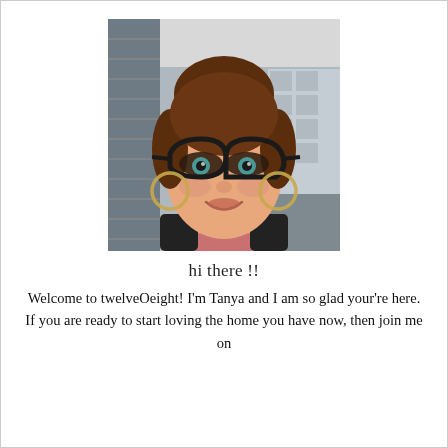[Figure (photo): Portrait photo of a woman with brown hair in a bun, wearing black cat-eye glasses and gold hoop earrings, smiling, wearing a black blazer over a pink top, photographed indoors.]
hi there !!
Welcome to twelveOeight! I'm Tanya and I am so glad your're here. If you are ready to start loving the home you have now, then join me on